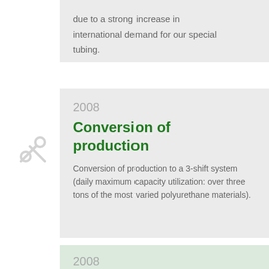due to a strong increase in international demand for our special tubing.
2008
Conversion of production
Conversion of production to a 3-shift system (daily maximum capacity utilization: over three tons of the most varied polyurethane materials).
2008